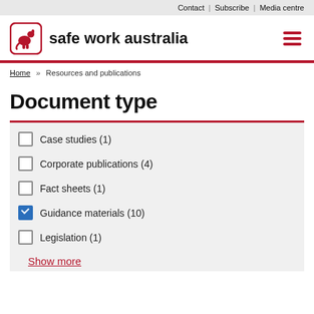Contact | Subscribe | Media centre
[Figure (logo): Safe Work Australia logo with kangaroo icon and bold text 'safe work australia']
Home » Resources and publications
Document type
Case studies (1)
Corporate publications (4)
Fact sheets (1)
Guidance materials (10)
Legislation (1)
Show more